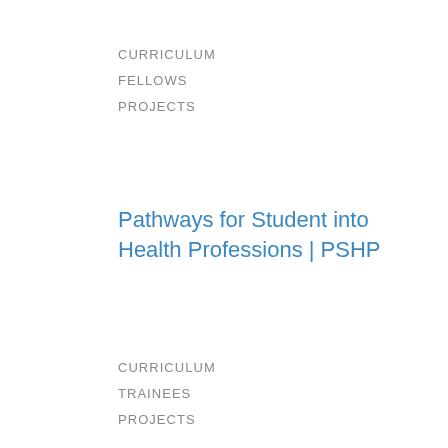CURRICULUM
FELLOWS
PROJECTS
Pathways for Student into Health Professions | PSHP
CURRICULUM
TRAINEES
PROJECTS